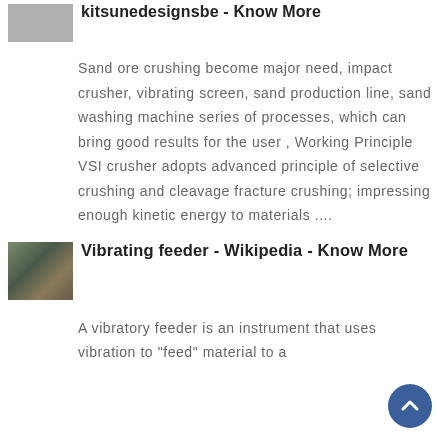kitsunedesignsbe - Know More
Sand ore crushing become major need, impact crusher, vibrating screen, sand production line, sand washing machine series of processes, which can bring good results for the user , Working Principle VSI crusher adopts advanced principle of selective crushing and cleavage fracture crushing; impressing enough kinetic energy to materials ....
[Figure (photo): Thumbnail image of industrial machinery/vibrating feeder]
Vibrating feeder - Wikipedia - Know More
A vibratory feeder is an instrument that uses vibration to "feed" material to a